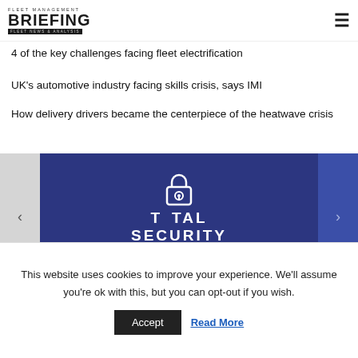Fleet Management Briefing - Fleet News & Analysis
4 of the key challenges facing fleet electrification
UK's automotive industry facing skills crisis, says IMI
How delivery drivers became the centerpiece of the heatwave crisis
[Figure (logo): Total Security Summit logo on dark blue background with padlock icon]
This website uses cookies to improve your experience. We'll assume you're ok with this, but you can opt-out if you wish.
Accept | Read More